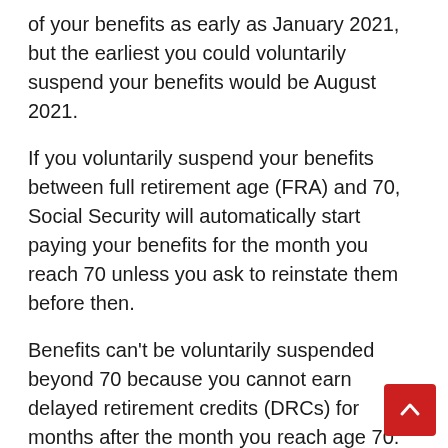of your benefits as early as January 2021, but the earliest you could voluntarily suspend your benefits would be August 2021.
If you voluntarily suspend your benefits between full retirement age (FRA) and 70, Social Security will automatically start paying your benefits for the month you reach 70 unless you ask to reinstate them before then.
Benefits can't be voluntarily suspended beyond 70 because you cannot earn delayed retirement credits (DRCs) for months after the month you reach age 70. Once benefits are suspended, the earliest that they can be reinstated is for the month following the month that you request reinstatement.